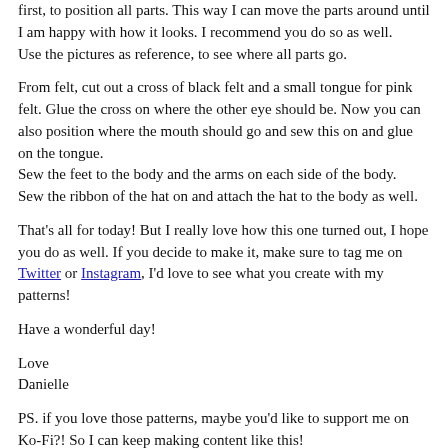first, to position all parts. This way I can move the parts around until I am happy with how it looks. I recommend you do so as well.
Use the pictures as reference, to see where all parts go.
From felt, cut out a cross of black felt and a small tongue for pink felt. Glue the cross on where the other eye should be. Now you can also position where the mouth should go and sew this on and glue on the tongue.
Sew the feet to the body and the arms on each side of the body.
Sew the ribbon of the hat on and attach the hat to the body as well.
That's all for today! But I really love how this one turned out, I hope you do as well. If you decide to make it, make sure to tag me on Twitter or Instagram, I'd love to see what you create with my patterns!
Have a wonderful day!
Love
Danielle
PS. if you love those patterns, maybe you'd like to support me on Ko-Fi?! So I can keep making content like this!
[Figure (other): Cyan/teal rounded button (Ko-Fi support button)]